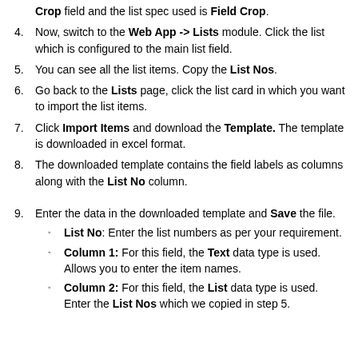Crop field and the list spec used is Field Crop.
4. Now, switch to the Web App -> Lists module. Click the list which is configured to the main list field.
5. You can see all the list items. Copy the List Nos.
6. Go back to the Lists page, click the list card in which you want to import the list items.
7. Click Import Items and download the Template. The template is downloaded in excel format.
8. The downloaded template contains the field labels as columns along with the List No column.
9. Enter the data in the downloaded template and Save the file.
List No: Enter the list numbers as per your requirement.
Column 1: For this field, the Text data type is used. Allows you to enter the item names.
Column 2: For this field, the List data type is used. Enter the List Nos which we copied in step 5.